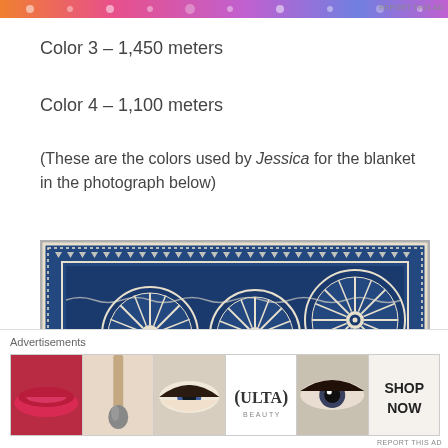[Figure (other): Top banner advertisement with colorful gradient strip (orange, pink, purple, blue) featuring decorative pattern icons and 'REPORT THIS AD' text]
Color 3 – 1,450 meters
Color 4 – 1,100 meters
(These are the colors used by Jessica for the blanket in the photograph below)
[Figure (photo): Photograph of a blue and white crocheted blanket with mandala/wheel patterns, geometric borders, and intricate lacework design laid flat on a grey surface]
Advertisements
[Figure (photo): Ulta Beauty advertisement strip showing multiple beauty/makeup images including lips with red lipstick, makeup brush, eye with makeup, Ulta Beauty logo, eye makeup close-up, with 'SHOP NOW' call to action button]
REPORT THIS AD